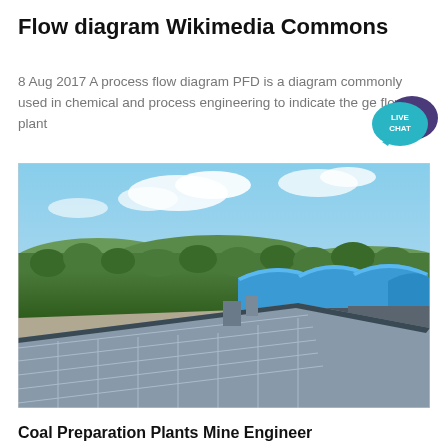Flow diagram Wikimedia Commons
8 Aug 2017 A process flow diagram PFD is a diagram commonly used in chemical and process engineering to indicate the ge flow of plant
[Figure (photo): Aerial view of an industrial plant with large blue-roofed warehouse buildings on the right, a large grey rooftop structure with grid panels in the foreground, surrounded by green forest and sky with clouds.]
Coal Preparation Plants Mine Engineer